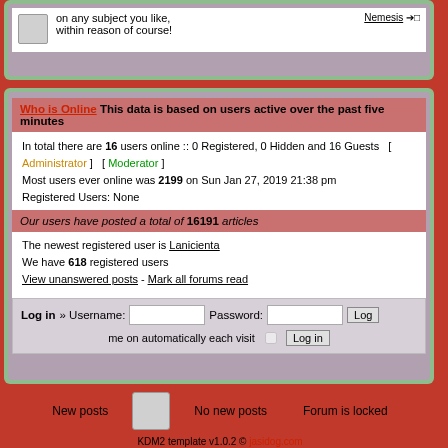on any subject you like, within reason of course!
Nemesis
Who is Online This data is based on users active over the past five minutes
In total there are 16 users online :: 0 Registered, 0 Hidden and 16 Guests  [ Administrator ]  [ Moderator ]
Most users ever online was 2199 on Sun Jan 27, 2019 21:38 pm
Registered Users: None
Our users have posted a total of 16191 articles
The newest registered user is Lanicienta
We have 618 registered users
View unanswered posts - Mark all forums read
Log in » Username:  Password:  Log me on automatically each visit  Log in
New posts   No new posts   Forum is locked
KDM2 template v1.0.2 © jasidog.com
Powered by phpBB © 2001, 2002 phpBB Group